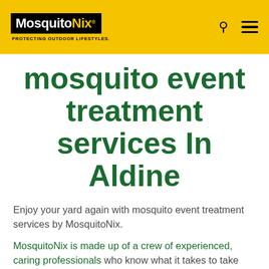MosquitoNix — PROTECTING OUTDOOR LIFESTYLES.
mosquito event treatment services In Aldine
Enjoy your yard again with mosquito event treatment services by MosquitoNix.
MosquitoNix is made up of a crew of experienced, caring professionals who know what it takes to take every step possible to make make sure your